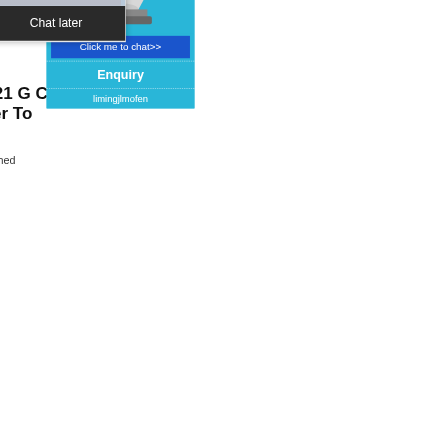[Figure (photo): Top partial image of quarry/crusher site - gray tones, cropped at top of page]
[Figure (illustration): Cyan/blue rectangular banner bar at top right]
[Figure (photo): Limestone crusher plant operation photo with yellow machinery and dust cloud, outdoor quarry setting]
Cost Of Limestone Crusher Planttph - travelmafia
[Figure (screenshot): Live chat popup overlay with woman and workers in hard hats. Text: LIVE CHAT, Click for a Free Consultation, Chat now, Chat later]
hour online
[Figure (photo): White industrial cone crusher machine on blue background]
Click me to chat>>
Enquiry
limingjlmofen
[Figure (photo): Mobile crusher / screening plant on job site with conveyor belt, aggregate pile, blue sky]
2021 G Crushe (Per To
Crushed